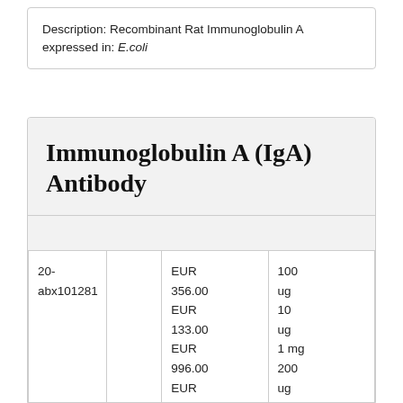Description: Recombinant Rat Immunoglobulin A expressed in: E.coli
Immunoglobulin A (IgA) Antibody
|  |  | Price | Quantity |
| --- | --- | --- | --- |
| 20-abx101281 |  | EUR 356.00
EUR 133.00
EUR 996.00
EUR 495.00
EUR 300.00 | 100 ug
10 ug
1 mg
200 ug
50 ug |